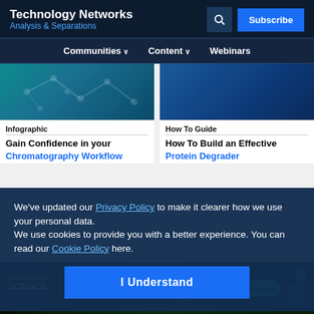Technology Networks — Analysis & Separations
Communities ∨  Content ∨  Webinars
[Figure (screenshot): Two article card thumbnails: left is a teal molecular structure background (Infographic), right is a dark blue gradient (How To Guide)]
Infographic
Gain Confidence in your Chromatography Workflow
How To Guide
How To Build an Effective Protein Degrader
We've updated our Privacy Policy to make it clearer how we use your personal data.
We use cookies to provide you with a better experience. You can read our Cookie Policy here.
I Understand
Advertisement
[Figure (other): Advertisement banner: Opinionated Science podcast — Episode 02: Reacting to Bias in STEM, Listen to the Podcast button]